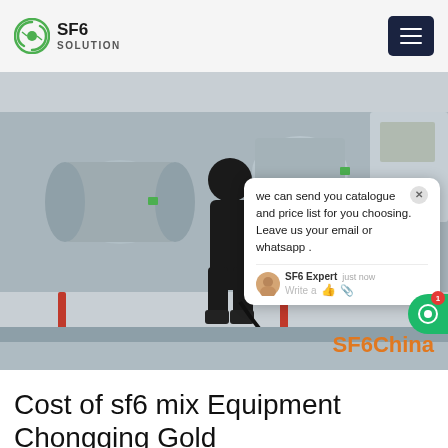SF6 SOLUTION
[Figure (photo): Worker in black clothing standing on industrial SF6 equipment/pipes at an outdoor substation in winter conditions, with large grey cylindrical pipes and metal structures visible]
we can send you catalogue and price list for you choosing. Leave us your email or whatsapp . SF6 Expert  just now  Write a
Cost of sf6 mix Equipment Chongging Gold